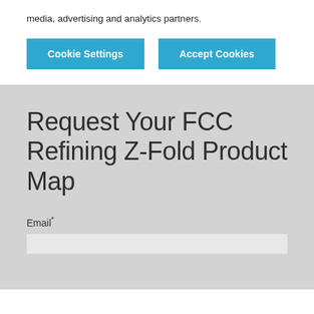media, advertising and analytics partners.
Cookie Settings
Accept Cookies
Request Your FCC Refining Z-Fold Product Map
Email *